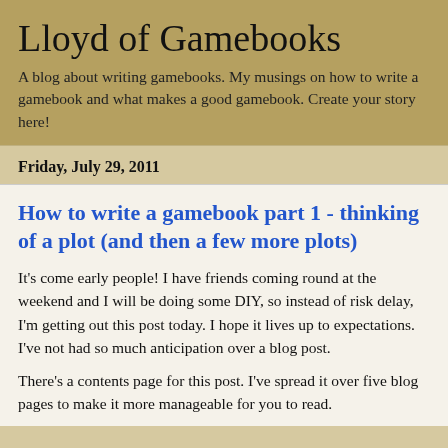Lloyd of Gamebooks
A blog about writing gamebooks. My musings on how to write a gamebook and what makes a good gamebook. Create your story here!
Friday, July 29, 2011
How to write a gamebook part 1 - thinking of a plot (and then a few more plots)
It's come early people!  I have friends coming round at the weekend and I will be doing some DIY, so instead of risk delay, I'm getting out this post today.  I hope it lives up to expectations. I've not had so much anticipation over a blog post.
There's a contents page for this post.  I've spread it over five blog pages to make it more manageable for you to read.